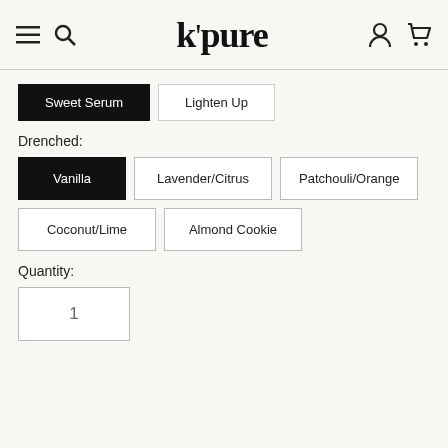k'pure – navigation header with menu, search, account, and cart icons
Sweet Serum (active tab)
Lighten Up (tab)
Drenched:
Vanilla (selected)
Lavender/Citrus
Patchouli/Orange
Coconut/Lime
Almond Cookie
Quantity:
1